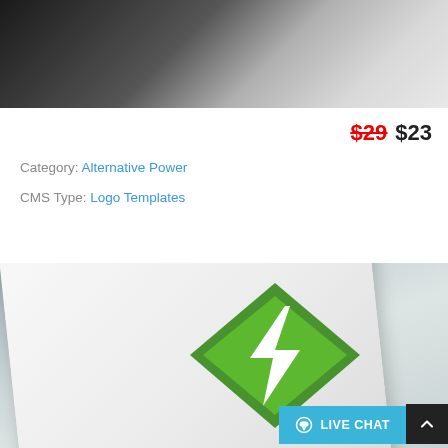[Figure (photo): Top partial view of a dark textured product mockup on textured paper background]
$29 $23
Category: Alternative Power
CMS Type: Logo Templates
[Figure (photo): A tilted white textured card mockup showing a green diamond-shaped logo with a white lightning bolt inside]
LIVE CHAT